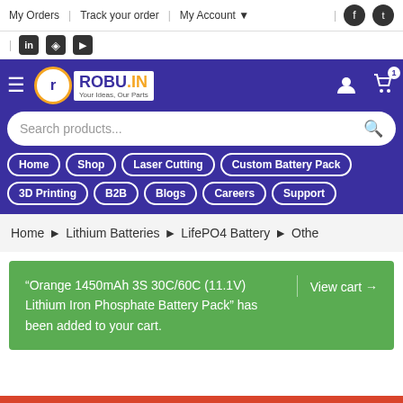My Orders | Track your order | My Account
ROBU.IN — Your Ideas, Our Parts
Search products...
Home | Shop | Laser Cutting | Custom Battery Pack | 3D Printing | B2B | Blogs | Careers | Support
Home > Lithium Batteries > LifePO4 Battery > Othe
"Orange 1450mAh 3S 30C/60C (11.1V) Lithium Iron Phosphate Battery Pack" has been added to your cart.  View cart →